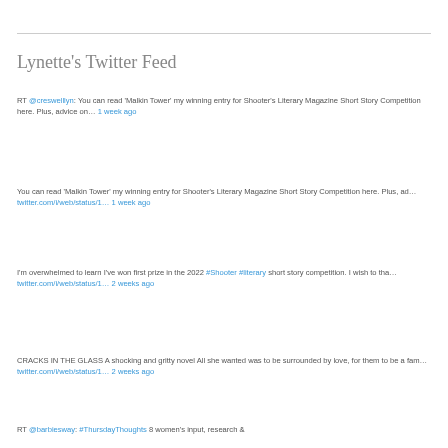Lynette's Twitter Feed
RT @creswelllyn: You can read 'Malkin Tower' my winning entry for Shooter's Literary Magazine Short Story Competition here. Plus, advice on… 1 week ago
You can read 'Malkin Tower' my winning entry for Shooter's Literary Magazine Short Story Competition here. Plus, ad… twitter.com/i/web/status/1… 1 week ago
I'm overwhelmed to learn I've won first prize in the 2022 #Shooter #literary short story competition. I wish to tha… twitter.com/i/web/status/1… 2 weeks ago
CRACKS IN THE GLASS A shocking and gritty novel All she wanted was to be surrounded by love, for them to be a fam… twitter.com/i/web/status/1… 2 weeks ago
RT @barbiesway: #ThursdayThoughts 8 women's input, research &